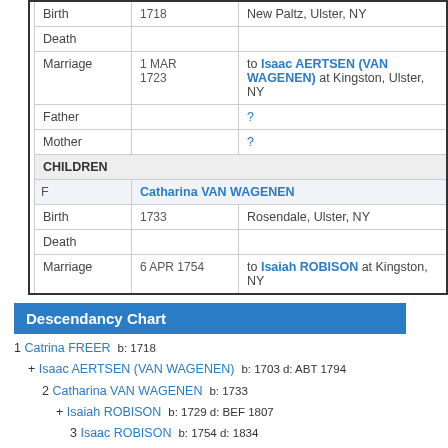|  | Event | Date | Details |
| --- | --- | --- | --- |
|  | Birth | 1718 | New Paltz, Ulster, NY |
|  | Death |  |  |
|  | Marriage | 1 MAR 1723 | to Isaac AERTSEN (VAN WAGENEN) at Kingston, Ulster, NY |
|  | Father |  | ? |
|  | Mother |  | ? |
| CHILDREN |  |  |  |
| F | Catharina VAN WAGENEN |  |  |
|  | Birth | 1733 | Rosendale, Ulster, NY |
|  | Death |  |  |
|  | Marriage | 6 APR 1754 | to Isaiah ROBISON at Kingston, NY |
Descendancy Chart
1 Catrina FREER  b: 1718
+ Isaac AERTSEN (VAN WAGENEN)  b: 1703 d: ABT 1794
2 Catharina VAN WAGENEN  b: 1733
+ Isaiah ROBISON  b: 1729 d: BEF 1807
3 Isaac ROBISON  b: 1754 d: 1834
+ Catharina SHURTER  b: 1761
4 Rachel ROBISON
+ Edward Westlake WOOD
4 Sarah ROBISON